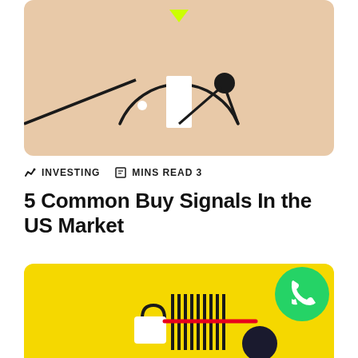[Figure (illustration): A gauge/meter illustration on a beige/tan background. A semicircular arc with a needle pointing to the right side near the top, a green downward-pointing triangle at the top center, a white rectangular shape in the center, and a small white dot on the left side of the arc.]
INVESTING   MINS READ 3
5 Common Buy Signals In the US Market
[Figure (illustration): A yellow background card showing a barcode-like illustration with vertical black lines, a red horizontal line crossing through them, an open padlock shape on the left, and a dark navy circle on the right. A green WhatsApp logo circle is in the upper right corner.]